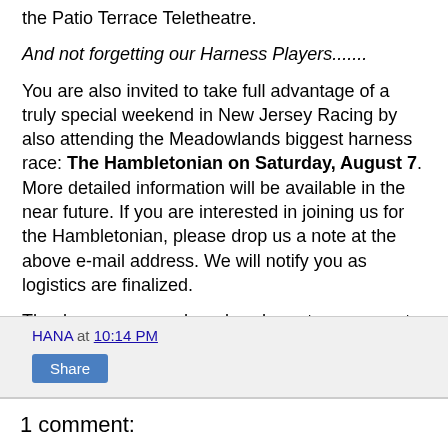the Patio Terrace Teletheatre.
And not forgetting our Harness Players.......
You are also invited to take full advantage of a truly special weekend in New Jersey Racing by also attending the Meadowlands biggest harness race: The Hambletonian on Saturday, August 7. More detailed information will be available in the near future. If you are interested in joining us for the Hambletonian, please drop us a note at the above e-mail address. We will notify you as logistics are finalized.
Thank you very much and we hope to see you at Monmouth Park on August 8!
HANA at 10:14 PM  Share
1 comment: